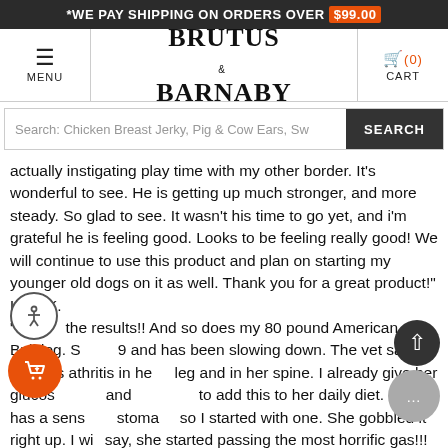*WE PAY SHIPPING ON ORDERS OVER $99.00
[Figure (screenshot): Navigation bar with hamburger menu, Brutus & Barnaby logo, and shopping cart icon showing 0 items]
Search: Chicken Breast Jerky, Pig & Cow Ears, Sw
actually instigating play time with my other border. It's wonderful to see. He is getting up much stronger, and more steady. So glad to see. It wasn't his time to go yet, and i'm grateful he is feeling good. Looks to be feeling really good! We will continue to use this product and plan on starting my younger old dogs on it as well. Thank you for a great product!"
Kerri K.
"I love the results!! And so does my 80 pound American Bulldog. She is 9 and has been slowing down. The vet said she has athritis in her leg and in her spine. I already give her glucosamine and wanted to add this to her daily diet. She has a sensitive stomach so I started with one. She gobbled it right up. I will say, she started passing the most horrific gas!!! After about 2 weeks,